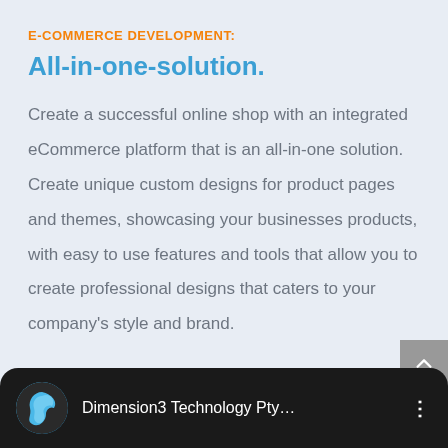E-COMMERCE DEVELOPMENT:
All-in-one-solution.
Create a successful online shop with an integrated eCommerce platform that is an all-in-one solution. Create unique custom designs for product pages and themes, showcasing your businesses products, with easy to use features and tools that allow you to create professional designs that caters to your company's style and brand.
[Figure (screenshot): Dark bottom bar showing Dimension3 Technology Pty... channel name with circular logo and three-dot menu]